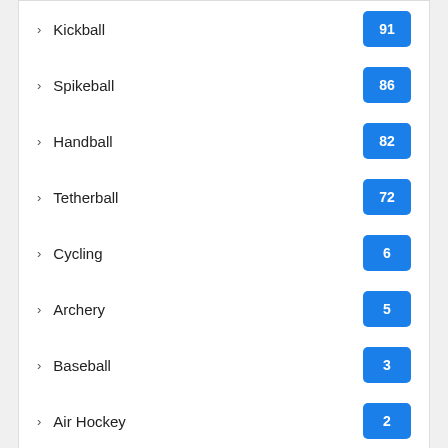Kickball 91
Spikeball 86
Handball 82
Tetherball 72
Cycling 6
Archery 5
Baseball 3
Air Hockey 2
Tags
Badminton
basketball
football
golf
liv golf
Los Angeles Lakers
more
nba
NBA Media
News